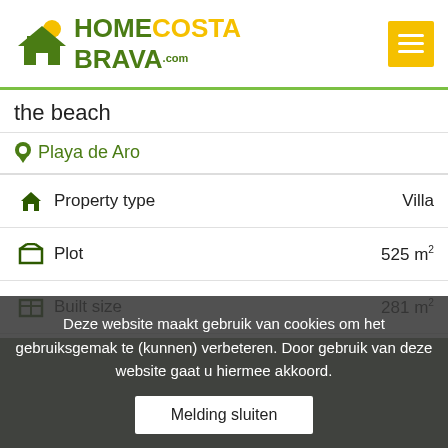HomeCostaBrava.com
...the beach
Playa de Aro
| Property detail | Value |
| --- | --- |
| Property type | Villa |
| Plot | 525 m² |
| Built size | 281 m² |
| Bedrooms | 4 |
| Bathrooms | 2 |
Deze website maakt gebruik van cookies om het gebruiksgemak te (kunnen) verbeteren. Door gebruik van deze website gaat u hiermee akkoord. Melding sluiten